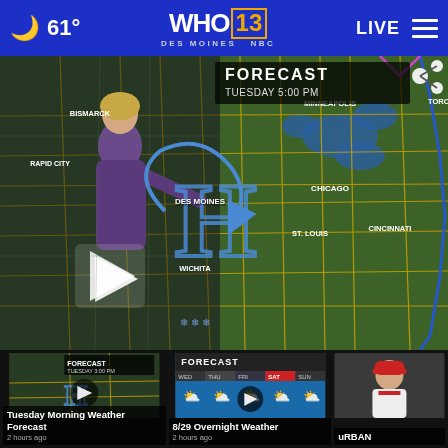🌙 61° | WHO 13 DES MOINES NBC | LIVE ☰
[Figure (screenshot): Weather broadcast screenshot showing meteorologist in front of US weather map with high pressure H symbol, forecast overlay showing TUESDAY 5:00 PM, city labels including Des Moines, Chicago, St. Louis, Cincinnati, Minneapolis, Bismarck, Toronto, Wichita, Rapid City]
[Figure (screenshot): Thumbnail of Tuesday Morning Weather Forecast video with play button]
Tuesday Morning Weather Forecast
2 hours ago
[Figure (screenshot): Thumbnail of 8/29 Overnight Weather forecast video showing 5-day forecast icons]
8/29 Overnight Weather
2 hours ago
[Figure (screenshot): Thumbnail of uRBAN story with person in red and white outfit]
uRBAN